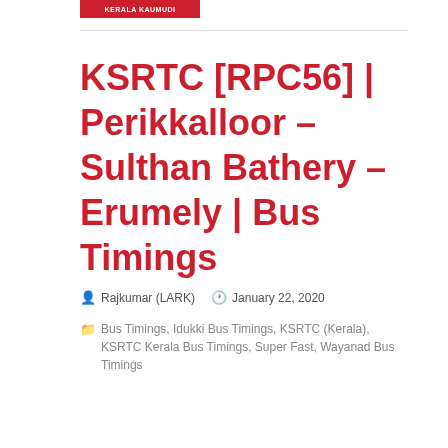KERALA KAUMUDI
KSRTC [RPC56] | Perikkalloor – Sulthan Bathery – Erumely | Bus Timings
Rajkumar (LARK)   January 22, 2020
Bus Timings, Idukki Bus Timings, KSRTC (Kerala), KSRTC Kerala Bus Timings, Super Fast, Wayanad Bus Timings